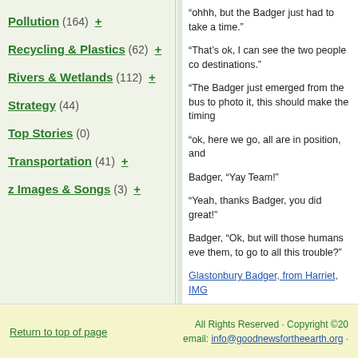Pollution (164) +
Recycling & Plastics (62) +
Rivers & Wetlands (112) +
Strategy (44)
Top Stories (0)
Transportation (41) +
z Images & Songs (3) +
“ohhh, but the Badger just had to take a time.”
“That’s ok, I can see the two people co destinations.”
“The Badger just emerged from the bus to photo it, this should make the timing
“ok, here we go, all are in position, and
Badger, “Yay Team!”
“Yeah, thanks Badger, you did great!”
Badger, “Ok, but will those humans eve them, to go to all this trouble?”
Glastonbury Badger, from Harriet, IMG
Return to top of page | All Rights Reserved · Copyright ©2o | email: info@goodnewsfortheearth.org ·